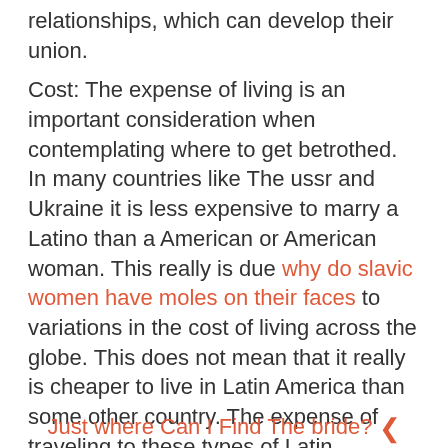relationships, which can develop their union.
Cost: The expense of living is an important consideration when contemplating where to get betrothed. In many countries like The ussr and Ukraine it is less expensive to marry a Latino than a American or American woman. This really is due why do slavic women have moles on their faces to variations in the cost of living across the globe. This does not mean that it really is cheaper to live in Latin America than some other country. The expense of traveling to these types of Latin countries may be a lot more than marrying a white Western woman. Anywhere you choose to get married to in the world, make certain you are saving cash to completely support a newly purchased family.
Just where Can I Find The bride? ❮